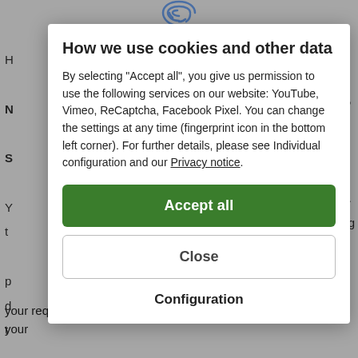[Figure (other): Fingerprint icon at the top center of the cookie consent modal]
How we use cookies and other data
By selecting "Accept all", you give us permission to use the following services on our website: YouTube, Vimeo, ReCaptcha, Facebook Pixel. You can change the settings at any time (fingerprint icon in the bottom left corner). For further details, please see Individual configuration and our Privacy notice.
Accept all
Close
Configuration
your request. These data are processed by us on the basis of your